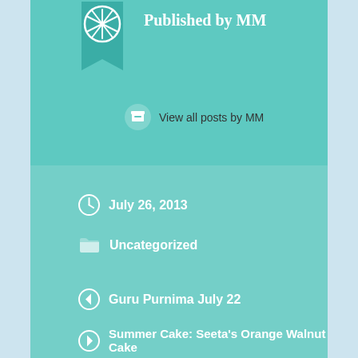Published by MM
View all posts by MM
July 26, 2013
Uncategorized
Guru Purnima July 22
Summer Cake: Seeta's Orange Walnut Cake
Leave a Reply
Your email address will not be published. Required fields are marked